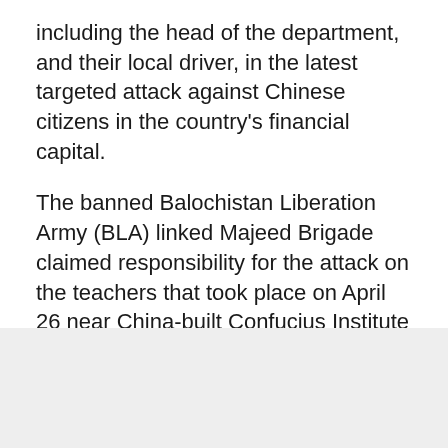including the head of the department, and their local driver, in the latest targeted attack against Chinese citizens in the country's financial capital.
The banned Balochistan Liberation Army (BLA) linked Majeed Brigade claimed responsibility for the attack on the teachers that took place on April 26 near China-built Confucius Institute – a non-profit institute teaching Chinese language to local pupils – in the university.
ADVERTISEMENT